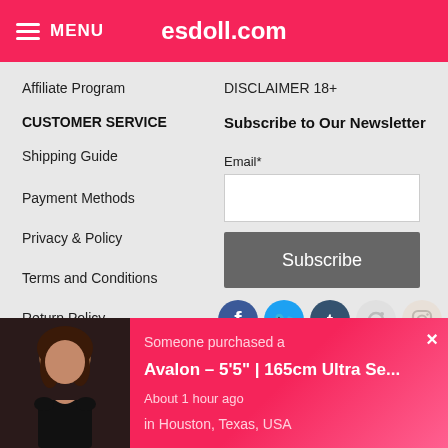MENU  esdoll.com
Affiliate Program
CUSTOMER SERVICE
Shipping Guide
Payment Methods
Privacy & Policy
Terms and Conditions
Return Policy
DISCLAIMER 18+
Subscribe to Our Newsletter
Email*
[Figure (logo): SiteLock ESDOLL.COM security badge]
[Figure (logo): SECURED BY positivessl badge]
Hot Sexy Lingerie Model Eurasian
[Figure (photo): Photo of woman with dark hair wearing black outfit]
Someone purchased a
Avalon – 5'5" | 165cm Ultra Se...
About 1 hour ago
in Houston, Texas, USA